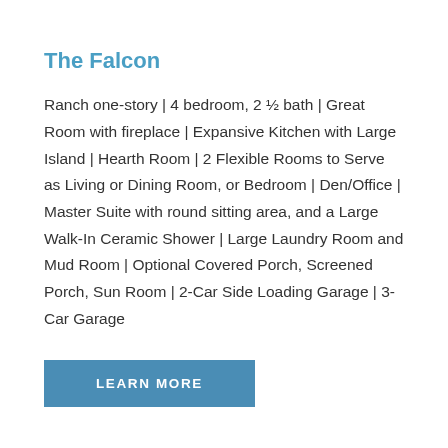The Falcon
Ranch one-story | 4 bedroom, 2 ½ bath | Great Room with fireplace | Expansive Kitchen with Large Island | Hearth Room | 2 Flexible Rooms to Serve as Living or Dining Room, or Bedroom | Den/Office | Master Suite with round sitting area, and a Large Walk-In Ceramic Shower | Large Laundry Room and Mud Room | Optional Covered Porch, Screened Porch, Sun Room | 2-Car Side Loading Garage | 3-Car Garage
LEARN MORE